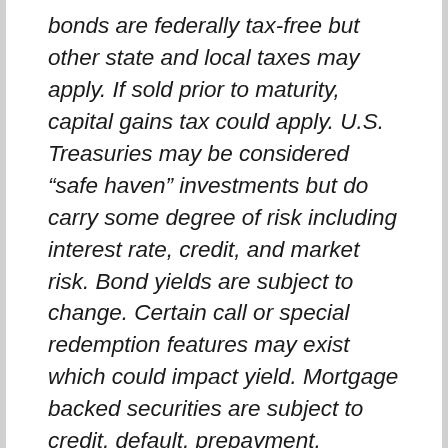bonds are federally tax-free but other state and local taxes may apply. If sold prior to maturity, capital gains tax could apply. U.S. Treasuries may be considered “safe haven” investments but do carry some degree of risk including interest rate, credit, and market risk. Bond yields are subject to change. Certain call or special redemption features may exist which could impact yield. Mortgage backed securities are subject to credit, default, prepayment, extension, market and interest rate risk.